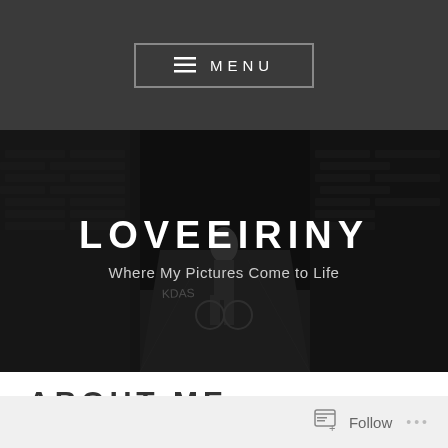≡ MENU
[Figure (photo): Black and white photograph of a woman standing in an urban alley with brick walls and a bicycle visible. Text overlay shows site title and tagline.]
LOVEEIRINY
Where My Pictures Come to Life
ABOUT ME
Follow ...